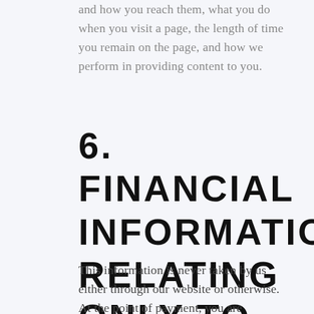and how you reach them, what you do when you visit a page, the length of time you remain on the page, and how we perform in providing content to you.
6. FINANCIAL INFORMATION RELATING ONLY TO YOUR CREDIT CARDS
This information is never taken by us either through our website or otherwise. At the point of payment, you are transferred to a